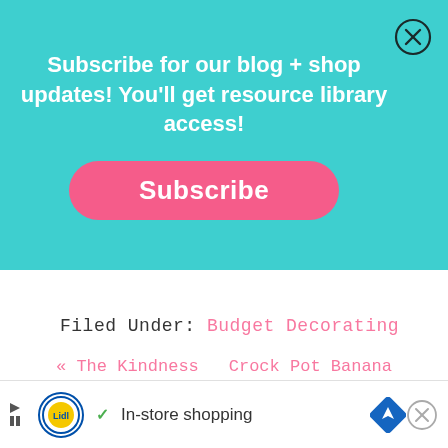[Figure (other): Teal subscription banner with bold white text 'Subscribe for our blog + shop updates! You'll get resource library access!' and a pink rounded Subscribe button. A close (X) button in the top-right corner.]
Filed Under: Budget Decorating
« The Kindness of Others
Crock Pot Banana Bread »
[Figure (other): Advertisement bar at the bottom showing Lidl logo, a checkmark, 'In-store shopping' text, a map/navigation icon, and a close X button.]